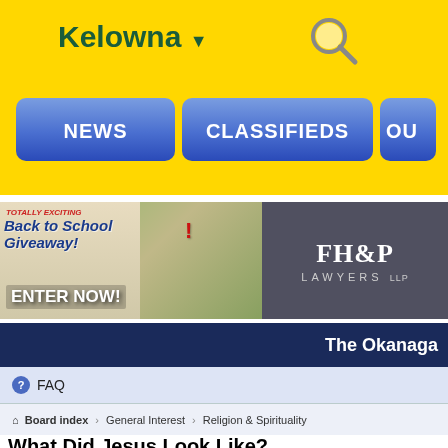Kelowna ▼
[Figure (screenshot): Navigation bar with NEWS, CLASSIFIEDS, OU... buttons on yellow background]
[Figure (infographic): Back to School Giveaway ad - ENTER NOW!]
[Figure (logo): FH&P Lawyers LLP advertisement]
The Okanaga
FAQ
Board index › General Interest › Religion & Spirituality
What Did Jesus Look Like?